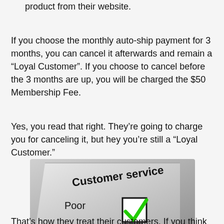2. Paying a $50 membership fee and ordering a product from their website.
If you choose the monthly auto-ship payment for 3 months, you can cancel it afterwards and remain a “Loyal Customer”. If you choose to cancel before the 3 months are up, you will be charged the $50 Membership Fee.
Yes, you read that right. They’re going to charge you for canceling it, but hey you’re still a “Loyal Customer.”
[Figure (photo): A customer service survey/checklist image showing a paper form with 'Customer service' as the title. The option 'Poor' has a green checkmark in its checkbox, while 'Excellent' has an empty checkbox below it.]
That’s how they treat their customers. If you think that’s